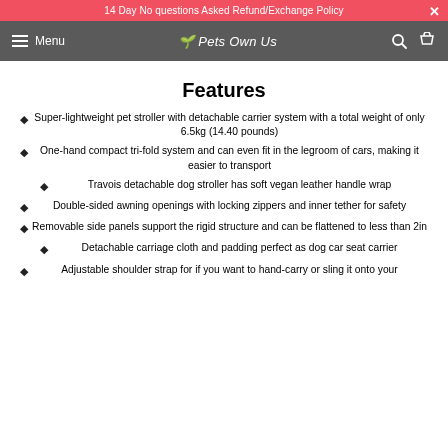14 Day No questions Asked Refund/Exchange Policy
Menu | Pets Own Us
Features
Super-lightweight pet stroller with detachable carrier system with a total weight of only 6.5kg (14.40 pounds)
One-hand compact tri-fold system and can even fit in the legroom of cars, making it easier to transport
Travois detachable dog stroller has soft vegan leather handle wrap
Double-sided awning openings with locking zippers and inner tether for safety
Removable side panels support the rigid structure and can be flattened to less than 2in
Detachable carriage cloth and padding perfect as dog car seat carrier
Adjustable shoulder strap for if you want to hand-carry or sling it onto your